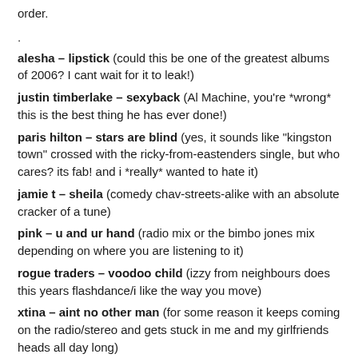order.
.
alesha – lipstick (could this be one of the greatest albums of 2006? I cant wait for it to leak!)
justin timberlake – sexyback (Al Machine, you're *wrong* this is the best thing he has ever done!)
paris hilton – stars are blind (yes, it sounds like "kingston town" crossed with the ricky-from-eastenders single, but who cares? its fab! and i *really* wanted to hate it)
jamie t – sheila (comedy chav-streets-alike with an absolute cracker of a tune)
pink – u and ur hand (radio mix or the bimbo jones mix depending on where you are listening to it)
rogue traders – voodoo child (izzy from neighbours does this years flashdance/i like the way you move)
xtina – aint no other man (for some reason it keeps coming on the radio/stereo and gets stuck in me and my girlfriends heads all day long)